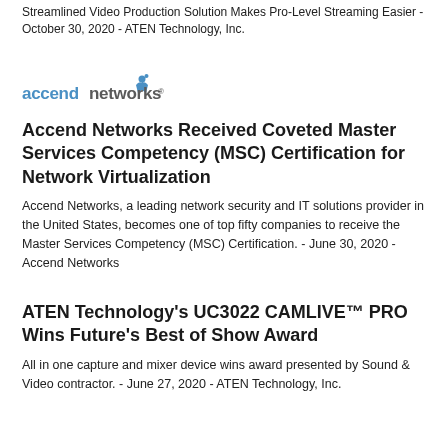Streamlined Video Production Solution Makes Pro-Level Streaming Easier - October 30, 2020 - ATEN Technology, Inc.
[Figure (logo): Accend Networks logo — blue text with a stylized figure icon]
Accend Networks Received Coveted Master Services Competency (MSC) Certification for Network Virtualization
Accend Networks, a leading network security and IT solutions provider in the United States, becomes one of top fifty companies to receive the Master Services Competency (MSC) Certification. - June 30, 2020 - Accend Networks
ATEN Technology's UC3022 CAMLIVE™ PRO Wins Future's Best of Show Award
All in one capture and mixer device wins award presented by Sound & Video contractor. - June 27, 2020 - ATEN Technology, Inc.